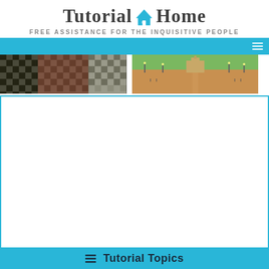Tutorial@Home — FREE ASSISTANCE FOR THE INQUISITIVE PEOPLE
[Figure (photo): Navigation bar with hamburger menu icon on cyan/teal background]
[Figure (photo): Two side-by-side photos: left shows checkered tile floor pattern, right shows a wide road with trees and a monument in India]
[Figure (other): Large white content area with cyan border]
☰ Tutorial Topics